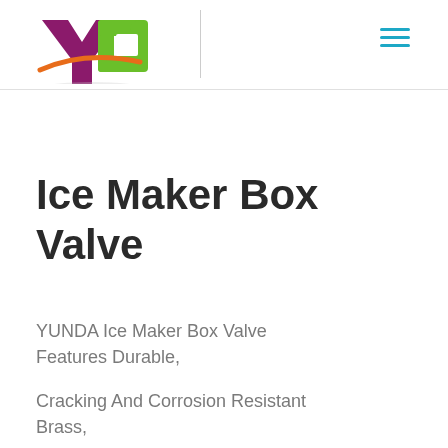[Figure (logo): YD company logo with purple Y and green D letters with orange swoosh accent]
Ice Maker Box Valve
YUNDA Ice Maker Box Valve Features Durable,
Cracking And Corrosion Resistant Brass,